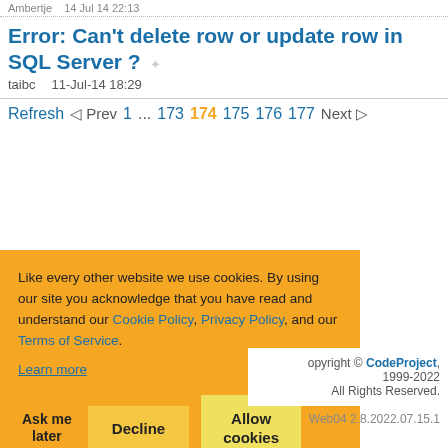Ambertje   14 Jul 14 22:13
Error: Can't delete row or update row in SQL Server ?
taibc   11-Jul-14 18:29
Refresh   ◁ Prev   1   ...   173   174   175   176   177   Next ▷
Like every other website we use cookies. By using our site you acknowledge that you have read and understand our Cookie Policy, Privacy Policy, and our Terms of Service. Learn more
Ask me later   Decline   Allow cookies
Copyright © CodeProject, 1999-2022 All Rights Reserved. Web04 2.8.2022.07.15.1